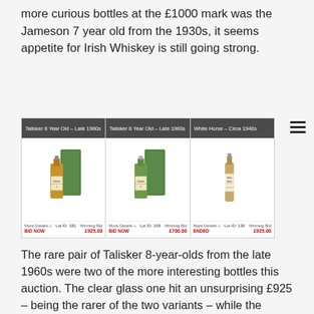more curious bottles at the £1000 mark was the Jameson 7 year old from the 1930s, it seems appetite for Irish Whiskey is still going strong.
[Figure (screenshot): Auction panel showing three whisky bottle listings: Talisker 8 Year Old Late 1960s (Lot 181, Winning Bid £925.00, BID NOW), Talisker 8 Year Old Late 1960s (Lot 168, Winning Bid £700.00, BID NOW), White Horse Circa 1940s (Lot 130, Winning Bid £925.00, ENDED)]
The rare pair of Talisker 8-year-olds from the late 1960s were two of the more interesting bottles this auction. The clear glass one hit an unsurprising £925 – being the rarer of the two variants – while the green glass one hit £700 – both solid results for beautiful bottles. Another interesting result at this level was the Lagavulin 15-year-old White Horse ceramic at £875. These have long been around the £300-400 mark and represented great value considering how stunning the whisky